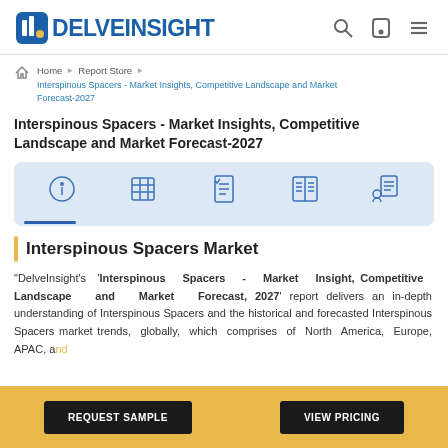DelveInsight
Home > Report Store > Interspinous Spacers - Market Insights, Competitive Landscape and Market Forecast-2027
Interspinous Spacers - Market Insights, Competitive Landscape and Market Forecast-2027
[Figure (infographic): Navigation icon bar with 5 icons: info, table, checklist, document columns, and person-report icons on a light blue background]
Interspinous Spacers Market
"DelveInsight's 'Interspinous Spacers - Market Insight, Competitive Landscape and Market Forecast, 2027' report delivers an in-depth understanding of Interspinous Spacers and the historical and forecasted Interspinous Spacers market trends, globally, which comprises of North America, Europe, APAC, and...
REQUEST SAMPLE | VIEW PRICING